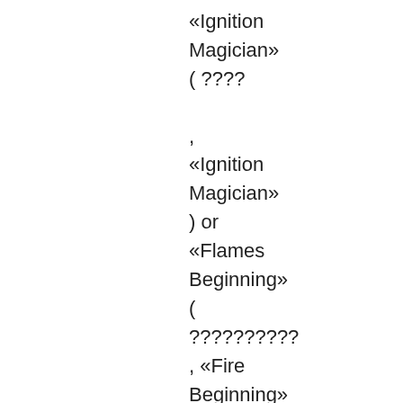«Ignition Magician» ( ???? , «Ignition Magician» ) or «Flames Beginning» ( ??????????, , «Fire Beginning» ) .
Actual Energy and Results: Because a student, she actually is